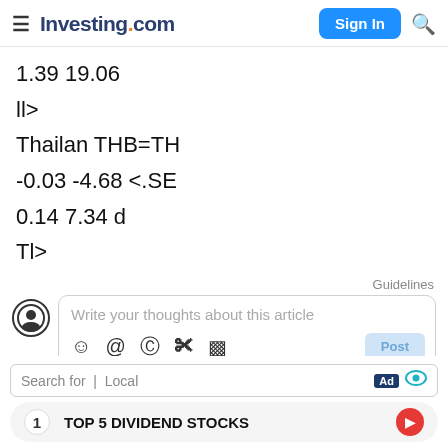Investing.com
1.39 19.06
ll>
Thailan THB=TH
-0.03 -4.68 <.SE
0.14 7.34 d
Tl>
Guidelines
Write your thoughts about this article
Search for | Local
TOP 5 DIVIDEND STOCKS